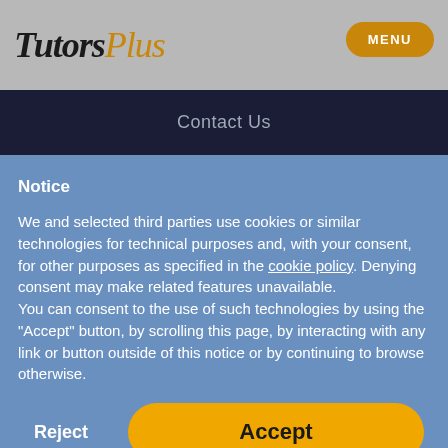TutorsPlus
Contact Us
Notice
We and selected third parties use cookies or similar technologies for technical purposes and, with your consent, for other purposes as specified in the cookie policy. Denying consent may make related features unavailable.
You can consent to the use of such technologies by using the "Accept" button, by scrolling this page, by interacting with any link or button outside of this notice or by continuing to browse otherwise.
Reject
Accept
Learn more and customize